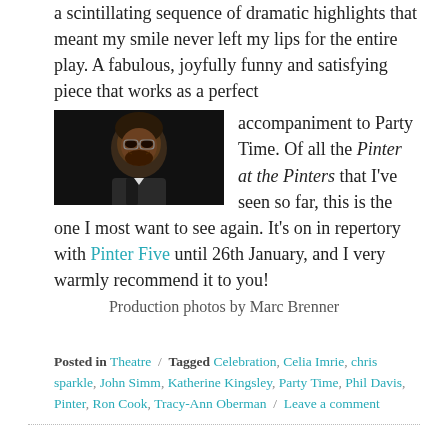a scintillating sequence of dramatic highlights that meant my smile never left my lips for the entire play. A fabulous, joyfully funny and satisfying piece that works as a perfect accompaniment to Party Time. Of all the Pinter at the Pinters that I've seen so far, this is the one I most want to see again. It's on in repertory with Pinter Five until 26th January, and I very warmly recommend it to you!
[Figure (photo): A Black actor with glasses, beard, wearing a vest/waistcoat, looking intensely at camera against a dark background]
Production photos by Marc Brenner
Posted in Theatre / Tagged Celebration, Celia Imrie, chris sparkle, John Simm, Katherine Kingsley, Party Time, Phil Davis, Pinter, Ron Cook, Tracy-Ann Oberman / Leave a comment